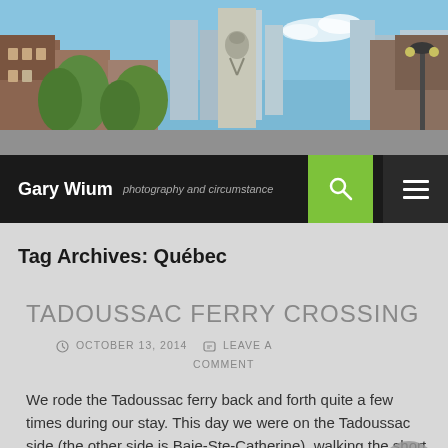[Figure (photo): Header photo of a city street with buildings, trees, and a mural on a skyscraper under a blue sky]
Gary Wium  photography and circumstance
Tag Archives: Québec
TADOUSSAC FERRY CROSSING
OCTOBER 13, 2014   LEAVE A COMMENT
We rode the Tadoussac ferry back and forth quite a few times during our stay. This day we were on the Tadoussac side (the other side is Baie-Ste-Catherine), walking the short Sentier de la